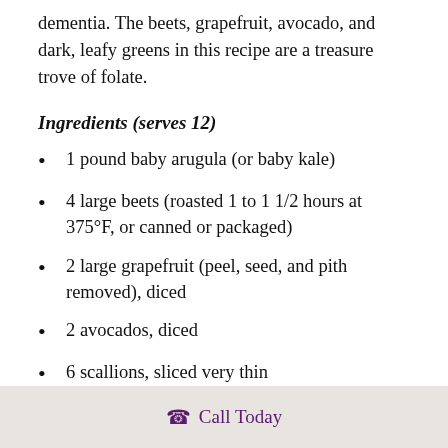dementia. The beets, grapefruit, avocado, and dark, leafy greens in this recipe are a treasure trove of folate.
Ingredients (serves 12)
1 pound baby arugula (or baby kale)
4 large beets (roasted 1 to 1 1/2 hours at 375°F, or canned or packaged)
2 large grapefruit (peel, seed, and pith removed), diced
2 avocados, diced
6 scallions, sliced very thin
Call Today